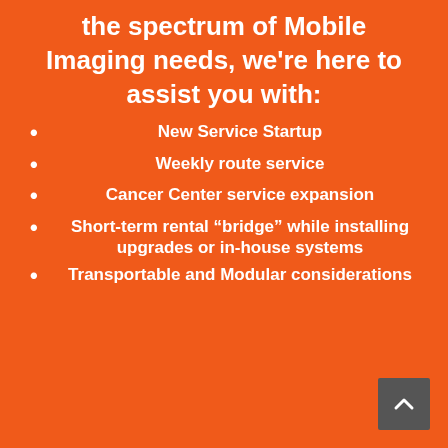the spectrum of Mobile Imaging needs, we're here to assist you with:
New Service Startup
Weekly route service
Cancer Center service expansion
Short-term rental “bridge” while installing upgrades or in-house systems
Transportable and Modular considerations